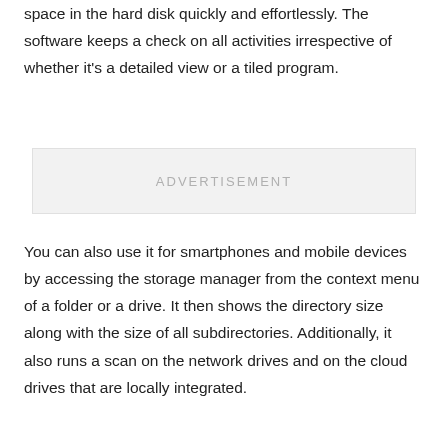space in the hard disk quickly and effortlessly. The software keeps a check on all activities irrespective of whether it's a detailed view or a tiled program.
[Figure (other): Advertisement placeholder box with the text 'ADVERTISEMENT' centered in light gray.]
You can also use it for smartphones and mobile devices by accessing the storage manager from the context menu of a folder or a drive. It then shows the directory size along with the size of all subdirectories. Additionally, it also runs a scan on the network drives and on the cloud drives that are locally integrated.